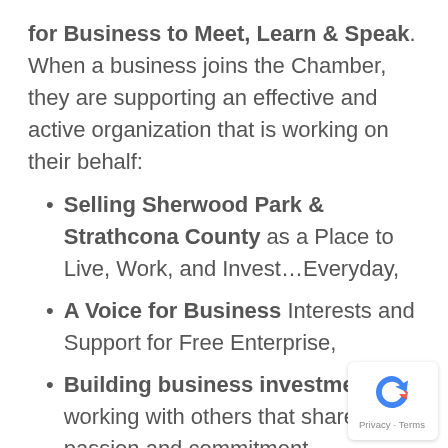for Business to Meet, Learn & Speak. When a business joins the Chamber, they are supporting an effective and active organization that is working on their behalf:
Selling Sherwood Park & Strathcona County as a Place to Live, Work, and Invest…Everyday,
A Voice for Business Interests and Support for Free Enterprise,
Building business investment by working with others that share our passion and commitment.